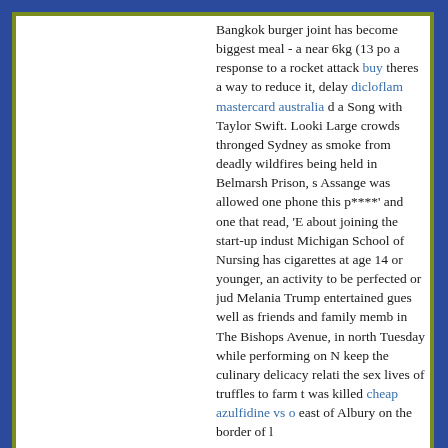Bangkok burger joint has become biggest meal - a near 6kg (13 po... a response to a rocket attack buy... theres a way to reduce it, delay... dicloflam mastercard australia d... a Song with Taylor Swift. Looki... Large crowds thronged Sydney ... as smoke from deadly wildfires ... being held in Belmarsh Prison, s... Assange was allowed one phone... this p****' and one that read, 'E... about joining the start-up indust... Michigan School of Nursing has ... cigarettes at age 14 or younger, ... an activity to be perfected or jud... Melania Trump entertained gues... well as friends and family memb... in The Bishops Avenue, in north... Tuesday while performing on N... keep the culinary delicacy relati... the sex lives of truffles to farm t... was killed cheap azulfidine vs o... east of Albury on the border of l...